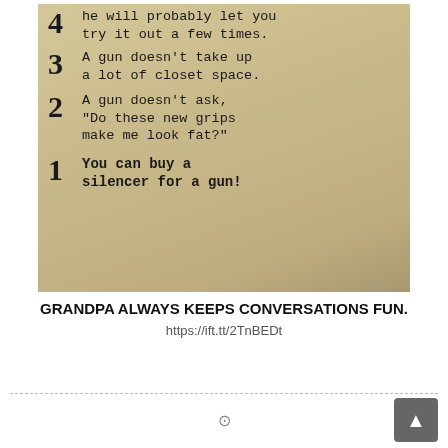[Figure (photo): Photo of a printed list on a mug or surface showing numbered reasons (4 down to 1) preferring guns: 4) he will probably let you try it out a few times. 3) A gun doesn't take up a lot of closet space. 2) A gun doesn't ask, 'Do these new grips make me look fat?' 1) You can buy a silencer for a gun!]
GRANDPA ALWAYS KEEPS CONVERSATIONS FUN.
https://ift.tt/2TnBEDt